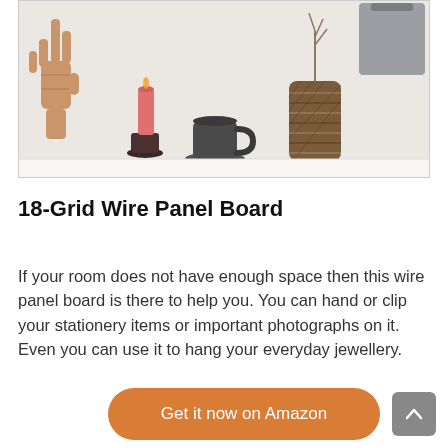[Figure (photo): Photo of home decor items on a white shelf: a wooden articulated hand, a pink candle on a dark holder, a dark gray mug on a saucer, a brown woven vase with dried flowers, and a gray fabric bag hanging in the upper right corner.]
18-Grid Wire Panel Board
If your room does not have enough space then this wire panel board is there to help you. You can hand or clip your stationery items or important photographs on it. Even you can use it to hang your everyday jewellery.
Get it now on Amazon